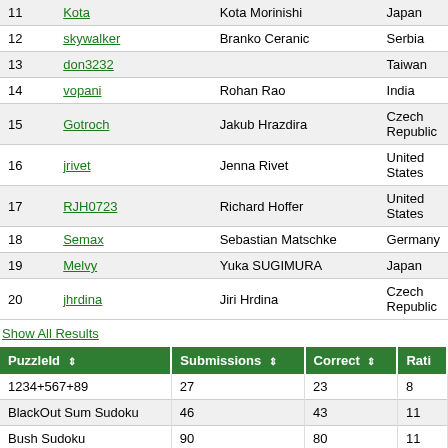| # | Username | Full Name | Country |
| --- | --- | --- | --- |
| 11 | Kota | Kota Morinishi | Japan |
| 12 | skywalker | Branko Ceranic | Serbia |
| 13 | don3232 |  | Taiwan |
| 14 | vopani | Rohan Rao | India |
| 15 | Gotroch | Jakub Hrazdira | Czech Republic |
| 16 | jrivet | Jenna Rivet | United States |
| 17 | RJH0723 | Richard Hoffer | United States |
| 18 | Semax | Sebastian Matschke | Germany |
| 19 | Melvy | Yuka SUGIMURA | Japan |
| 20 | jhrdina | Jiri Hrdina | Czech Republic |
Show All Results
| PuzzleId | Submissions | Correct | Rati... |
| --- | --- | --- | --- |
| 1234+567+89 | 27 | 23 | 8 |
| BlackOut Sum Sudoku | 46 | 43 | 11 |
| Bush Sudoku | 90 | 80 | 11 |
| Classic Sudoku 1 | 126 | 121 | 8 |
| Classic Sudoku 2 | 113 | 105 | 7 |
| Classic Sudoku 3 | 111 | 110 | 7 |